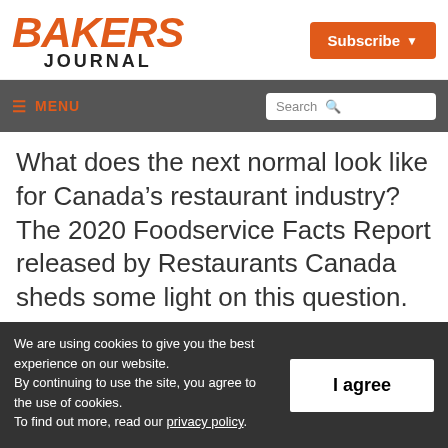BAKERS JOURNAL
What does the next normal look like for Canada's restaurant industry? The 2020 Foodservice Facts Report released by Restaurants Canada sheds some light on this question.
We are using cookies to give you the best experience on our website. By continuing to use the site, you agree to the use of cookies. To find out more, read our privacy policy.